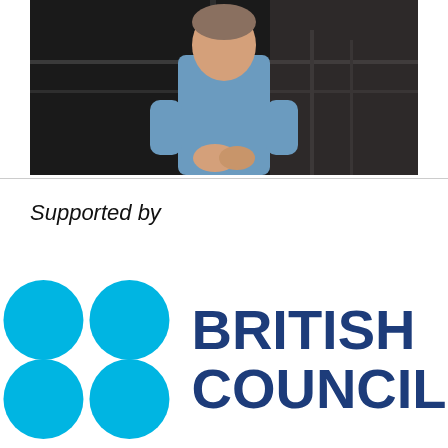[Figure (photo): A person in a blue shirt standing indoors with hands clasped, in what appears to be a dark industrial or warehouse setting with metal railings in the background.]
Supported by
[Figure (logo): British Council logo consisting of four cyan/turquoise circles arranged in a 2x2 grid on the left, and the text 'BRITISH COUNCIL' in bold dark navy blue on the right.]